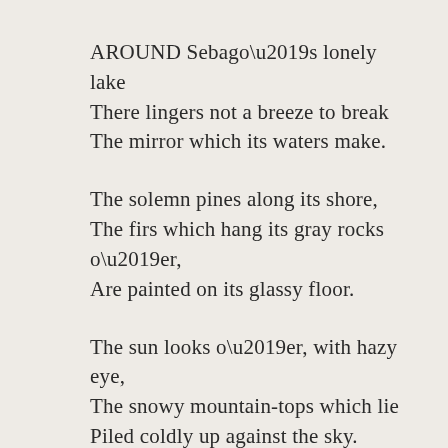AROUND Sebago’s lonely lake
There lingers not a breeze to break
The mirror which its waters make.
The solemn pines along its shore,
The firs which hang its gray rocks o’er,
Are painted on its glassy floor.
The sun looks o’er, with hazy eye,
The snowy mountain-tops which lie
Piled coldly up against the sky.
Dazzling and white! save where the bleak,
Wild winds have bared some splintering peak,
Or snow-slide left its dusky streak.
Yet green are Saco’s banks below,